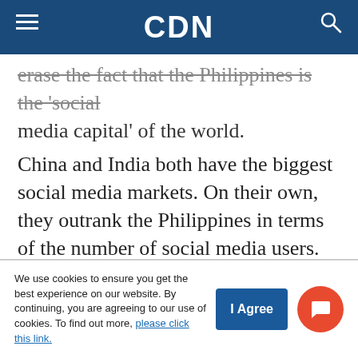CDN
erase the fact that the Philippines is the 'social media capital' of the world.
China and India both have the biggest social media markets. On their own, they outrank the Philippines in terms of the number of social media users. But Filipinos, like Jun, spend more time on social media than any other nationalities.
We use cookies to ensure you get the best experience on our website. By continuing, you are agreeing to our use of cookies. To find out more, please click this link.